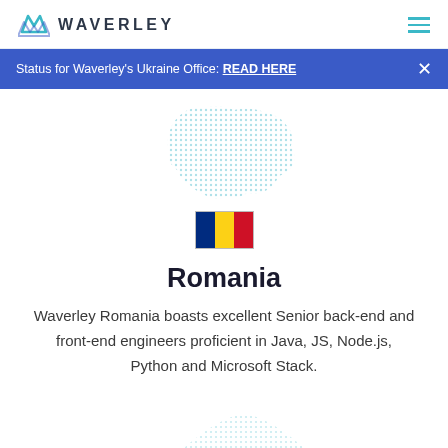WAVERLEY
Status for Waverley's Ukraine Office: READ HERE
[Figure (map): Dotted light blue outline map of Romania]
[Figure (illustration): Romanian flag with blue, yellow, and red vertical stripes]
Romania
Waverley Romania boasts excellent Senior back-end and front-end engineers proficient in Java, JS, Node.js, Python and Microsoft Stack.